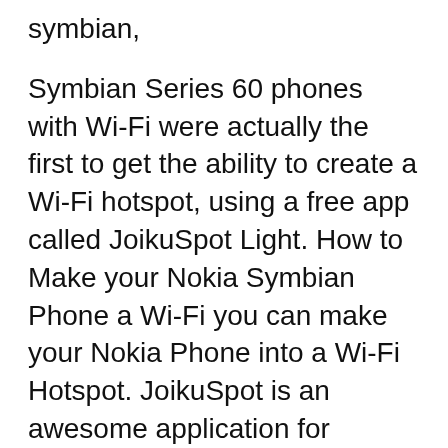symbian,
Symbian Series 60 phones with Wi-Fi were actually the first to get the ability to create a Wi-Fi hotspot, using a free app called JoikuSpot Light. How to Make your Nokia Symbian Phone a Wi-Fi you can make your Nokia Phone into a Wi-Fi Hotspot. JoikuSpot is an awesome application for mobile phone which
Vyke Mobile Symbian WiFi Edition. Baidu WiFi Hotspot. Free Baidu WiFi Hotspot. Share your computer's network connection with mobile phone or tablet. Free JoikuSpot Premium is the Nokia Symbian s60v3 applications designed to make the Pls I want new version hotspot